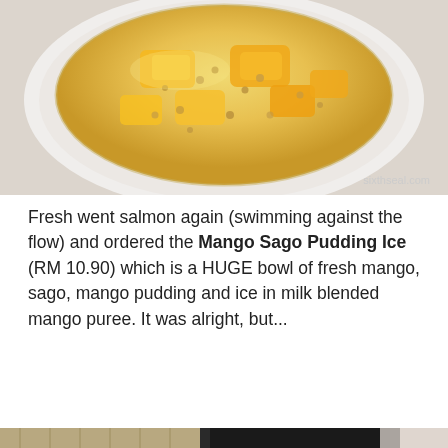[Figure (photo): Close-up photo of a bowl of Mango Sago Pudding Ice – yellowish mango pieces and sago pearls in a milky liquid, served in a white bowl on a checkered surface. Watermark 'sixthseal.com' in bottom right corner.]
Fresh went salmon again (swimming against the flow) and ordered the Mango Sago Pudding Ice (RM 10.90) which is a HUGE bowl of fresh mango, sago, mango pudding and ice in milk blended mango puree. It was alright, but...
[Figure (photo): Photo of a restaurant shopfront showing a 'Mango' restaurant with yellow signage next to a 'BBVs Steaks' sign, outdoor seating visible inside, with wood panel walls and WiFi signage.]